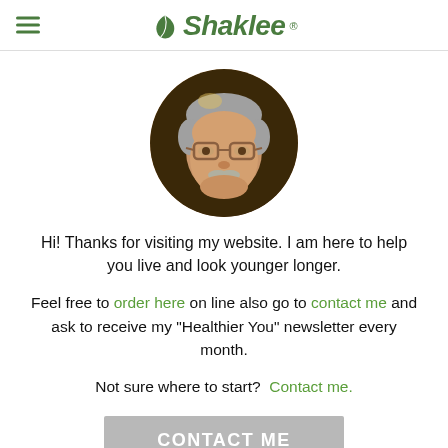Shaklee
[Figure (photo): Circular profile photo of an older man with gray hair, glasses, and a mustache, smiling.]
Hi! Thanks for visiting my website. I am here to help you live and look younger longer.
Feel free to order here on line also go to contact me and ask to receive my "Healthier You" newsletter every month.
Not sure where to start?  Contact me.
CONTACT ME